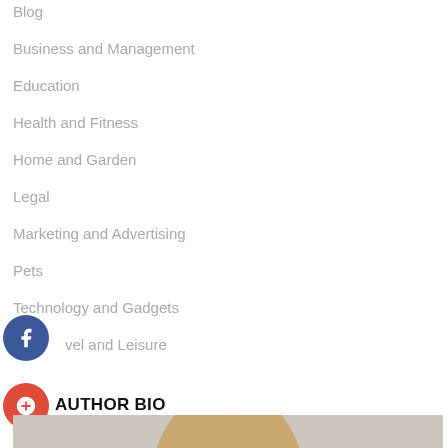Blog
Business and Management
Education
Health and Fitness
Home and Garden
Legal
Marketing and Advertising
Pets
Technology and Gadgets
Travel and Leisure
AUTHOR BIO
[Figure (photo): Author headshot photo of a woman with blonde hair against a light gray background]